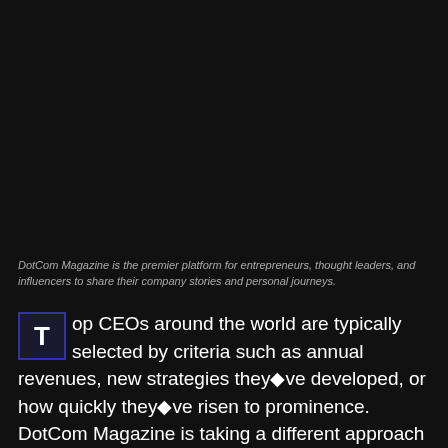DotCom Magazine is the premier platform for entrepreneurs, thought leaders, and influencers to share their company stories and personal journeys.
Top CEOs around the world are typically selected by criteria such as annual revenues, new strategies they've developed, or how quickly they've risen to prominence. DotCom Magazine is taking a different approach with its list of the Top 5 UK CEOs. These CEOs were all chosen by their current and former employees.